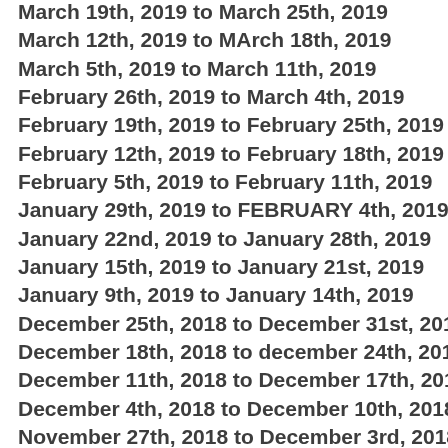March 19th, 2019 to March 25th, 2019
March 12th, 2019 to MArch 18th, 2019
March 5th, 2019 to March 11th, 2019
February 26th, 2019 to March 4th, 2019
February 19th, 2019 to February 25th, 2019
February 12th, 2019 to February 18th, 2019
February 5th, 2019 to February 11th, 2019
January 29th, 2019 to FEBRUARY 4th, 2019
January 22nd, 2019 to January 28th, 2019
January 15th, 2019 to January 21st, 2019
January 9th, 2019 to January 14th, 2019
December 25th, 2018 to December 31st, 2018
December 18th, 2018 to december 24th, 2018
December 11th, 2018 to December 17th, 2018
December 4th, 2018 to December 10th, 2018
November 27th, 2018 to December 3rd, 2018